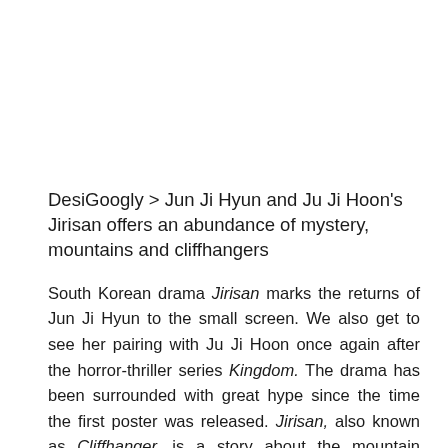DesiGoogly > Jun Ji Hyun and Ju Ji Hoon's Jirisan offers an abundance of mystery, mountains and cliffhangers
South Korean drama Jirisan marks the returns of Jun Ji Hyun to the small screen. We also get to see her pairing with Ju Ji Hoon once again after the horror-thriller series Kingdom. The drama has been surrounded with great hype since the time the first poster was released. Jirisan, also known as Cliffhanger, is a story about the mountain rangers at the Jirisan National Park. The drama borrows its Korean title from the eponymous mountain in South Korea. The drama takes us through the challenges faced by the team, and also casts light on their